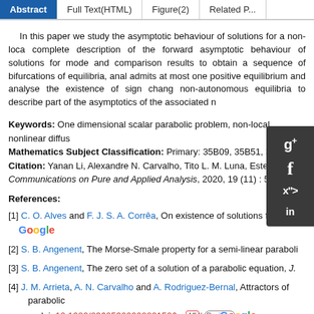Abstract | Full Text(HTML) | Figure(2) | Related P...
In this paper we study the asymptotic behaviour of solutions for a non-loca complete description of the forward asymptotic behaviour of solutions for mode and comparison results to obtain a sequence of bifurcations of equilibria, anal admits at most one positive equilibrium and analyse the existence of sign chang non-autonomous equilibria to describe part of the asymptotics of the associated n
Keywords: One dimensional scalar parabolic problem, non-local nonlinear diffus
Mathematics Subject Classification: Primary: 35B09, 35B51, 35B32; S
Citation: Yanan Li, Alexandre N. Carvalho, Tito L. M. Luna, Estefani M. M Communications on Pure and Applied Analysis, 2020, 19 (11) : 5181-519
References:
[1] C. O. Alves and F. J. S. A. Corrêa, On existence of solutions for a clas [Google]
[2] S. B. Angenent, The Morse-Smale property for a semi-linear paraboli
[3] S. B. Angenent, The zero set of a solution of a parabolic equation, J.
[4] J. M. Arrieta, A. N. Carvalho and A. Rodriguez-Bernal, Attractors of parabolic doi: 10.1080/03605300008821506. [crossref] [Math Review] [Google]
[5] V. Barbu, Nonlinear Semigroups and Differential Equations in Banach Spaces
[6] M. C. Bortolan, A. N. Carvalho, J. A. Langa and G. Raugel, Non-autonomous